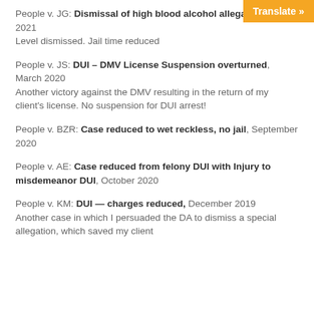Translate »
People v. JG: Dismissal of high blood alcohol allegation, May 2021
Level dismissed. Jail time reduced
People v. JS: DUI – DMV License Suspension overturned, March 2020
Another victory against the DMV resulting in the return of my client's license. No suspension for DUI arrest!
People v. BZR: Case reduced to wet reckless, no jail, September 2020
People v. AE: Case reduced from felony DUI with Injury to misdemeanor DUI, October 2020
People v. KM: DUI — charges reduced, December 2019
Another case in which I persuaded the DA to dismiss a special allegation, which saved my client